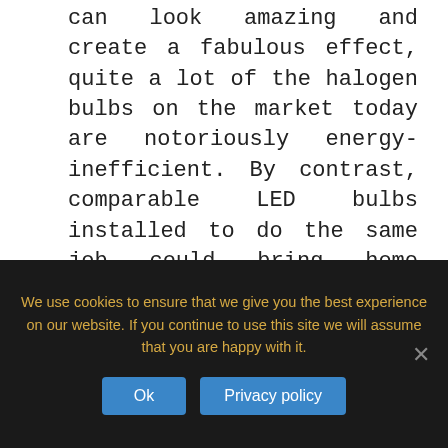can look amazing and create a fabulous effect, quite a lot of the halogen bulbs on the market today are notoriously energy-inefficient. By contrast, comparable LED bulbs installed to do the same job could bring home energy savings of over 80%. It seems like a small thing, but when you consider making the switch with say 30 or 40 bulbs around the
We use cookies to ensure that we give you the best experience on our website. If you continue to use this site we will assume that you are happy with it.